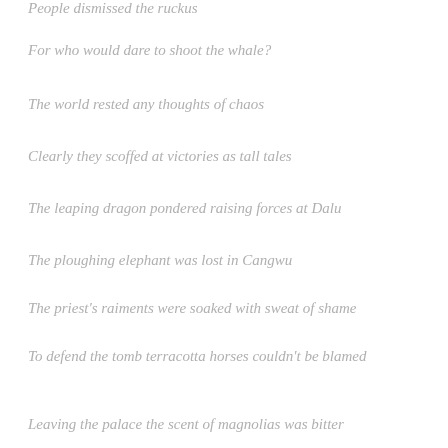People dismissed the ruckus
For who would dare to shoot the whale?
The world rested any thoughts of chaos
Clearly they scoffed at victories as tall tales
The leaping dragon pondered raising forces at Dalu
The ploughing elephant was lost in Cangwu
The priest's raiments were soaked with sweat of shame
To defend the tomb terracotta horses couldn't be blamed
Leaving the palace the scent of magnolias was bitter